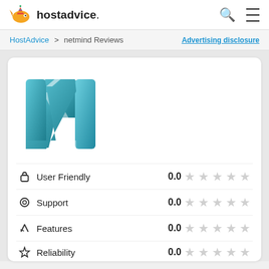[Figure (logo): HostAdvice website logo with cartoon fish mascot and text 'hostadvice.']
HostAdvice > netmind Reviews   Advertising disclosure
[Figure (logo): Netmind brand logo — stylized teal/cyan letter N on white card background]
User Friendly  0.0 ☆☆☆☆☆
Support  0.0 ☆☆☆☆☆
Features  0.0 ☆☆☆☆☆
Reliability  0.0 (partially visible)